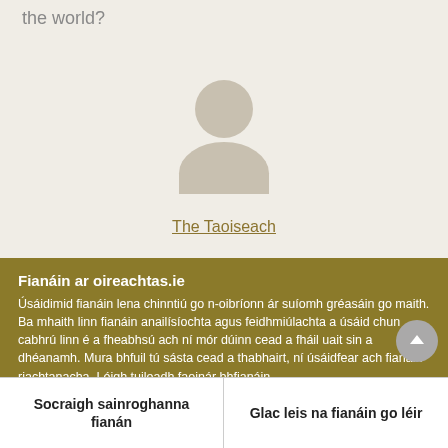the world?
[Figure (illustration): Generic user/person avatar icon: circular head above a rounded body shape, in light beige/tan color]
The Taoiseach
Fianáin ar oireachtas.ie
Úsáidimid fianáin lena chinntiú go n-oibríonn ár suíomh gréasáin go maith. Ba mhaith linn fianáin anailísíochta agus feidhmiúlachta a úsáid chun cabhrú linn é a fheabhsú ach ní mór dúinn cead a fháil uait sin a dhéanamh. Mura bhfuil tú sásta cead a thabhairt, ní úsáidfear ach fianáin riachtanacha. Léigh tuileadh faoinár bhfianáin
Socraigh sainroghanna fianán
Glac leis na fianáin go léir